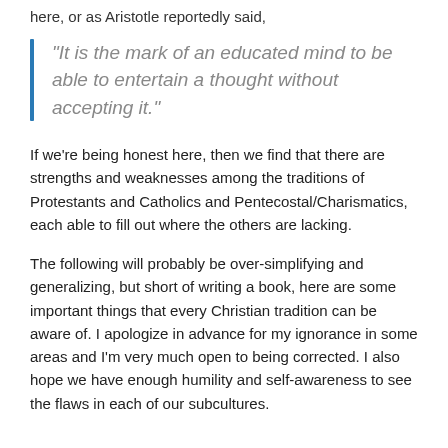here, or as Aristotle reportedly said,
“It is the mark of an educated mind to be able to entertain a thought without accepting it.”
If we’re being honest here, then we find that there are strengths and weaknesses among the traditions of Protestants and Catholics and Pentecostal/Charismatics, each able to fill out where the others are lacking.
The following will probably be over-simplifying and generalizing, but short of writing a book, here are some important things that every Christian tradition can be aware of.  I apologize in advance for my ignorance in some areas and I’m very much open to being corrected.  I also hope we have enough humility and self-awareness to see the flaws in each of our subcultures.